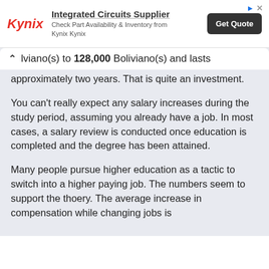[Figure (other): Kynix advertisement banner: Kynix logo in red italic, 'Integrated Circuits Supplier' heading with underline, subtext 'Check Part Availability & Inventory from Kynix Kynix', and a dark 'Get Quote' button. Arrow and X icons in top right corner.]
lviano(s) to 128,000 Boliviano(s) and lasts approximately two years. That is quite an investment.
You can't really expect any salary increases during the study period, assuming you already have a job. In most cases, a salary review is conducted once education is completed and the degree has been attained.
Many people pursue higher education as a tactic to switch into a higher paying job. The numbers seem to support the thoery. The average increase in compensation while changing jobs is